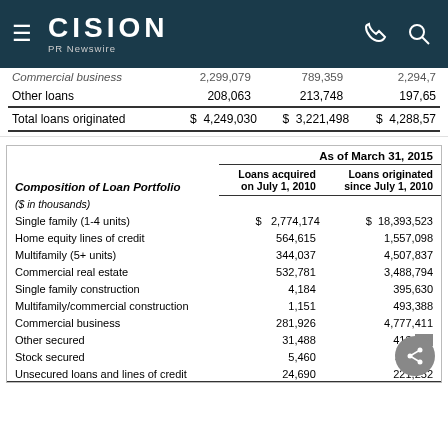CISION PR Newswire
|  | col1 | col2 | col3 |
| --- | --- | --- | --- |
| Commercial business | 2,299,079 | 789,359 | 2,294,7... |
| Other loans | 208,063 | 213,748 | 197,65... |
| Total loans originated | $ 4,249,030 | $ 3,221,498 | $ 4,288,57... |
| Composition of Loan Portfolio | Loans acquired on July 1, 2010 | Loans originated since July 1, 2010 |
| --- | --- | --- |
| ($ in thousands) |  |  |
| Single family (1-4 units) | $ 2,774,174 | $ 18,393,523 |
| Home equity lines of credit | 564,615 | 1,557,098 |
| Multifamily (5+ units) | 344,037 | 4,507,837 |
| Commercial real estate | 532,781 | 3,488,794 |
| Single family construction | 4,184 | 395,630 |
| Multifamily/commercial construction | 1,151 | 493,388 |
| Commercial business | 281,926 | 4,777,411 |
| Other secured | 31,488 | 413,209 |
| Stock secured | 5,460 | 301,... |
| Unsecured loans and lines of credit | 24,690 | 221,252 |